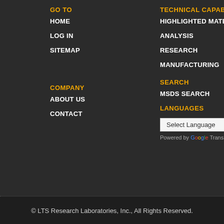GO TO
HOME
LOG IN
SITEMAP
COMPANY
ABOUT US
CONTACT
TECHNICAL CAPABILITIES
HIGHLIGHTED MATERIALS
ANALYSIS
RESEARCH
MANUFACTURING
SEARCH
MSDS SEARCH
LANGUAGES
Select Language
Powered by Google Translate
© LTS Research Laboratories, Inc., All Rights Reserved.